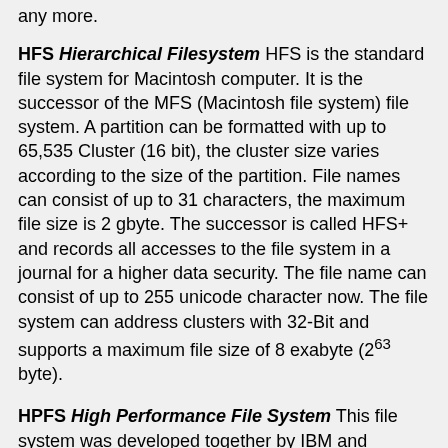any more.
HFS Hierarchical Filesystem HFS is the standard file system for Macintosh computer. It is the successor of the MFS (Macintosh file system) file system. A partition can be formatted with up to 65,535 Cluster (16 bit), the cluster size varies according to the size of the partition. File names can consist of up to 31 characters, the maximum file size is 2 gbyte. The successor is called HFS+ and records all accesses to the file system in a journal for a higher data security. The file name can consist of up to 255 unicode character now. The file system can address clusters with 32-Bit and supports a maximum file size of 8 exabyte (2^63 byte).
HPFS High Performance File System This file system was developed together by IBM and Microsoft around the year 1985. At first it was used in OS/2 1.2 and Microsoft LAN Server. The idea arose from the insufficient abilities of the FAT file system for use on servers and networks, like missing file access rights. HPFS has a considerably more